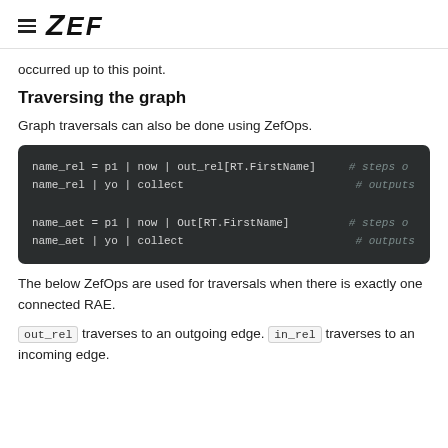ZEF
occurred up to this point.
Traversing the graph
Graph traversals can also be done using ZefOps.
name_rel = p1 | now | out_rel[RT.FirstName]   # steps o
name_rel | yo | collect                          # outputs

name_aet = p1 | now | Out[RT.FirstName]          # steps o
name_aet | yo | collect                          # outputs
The below ZefOps are used for traversals when there is exactly one connected RAE.
out_rel traverses to an outgoing edge. in_rel traverses to an incoming edge.